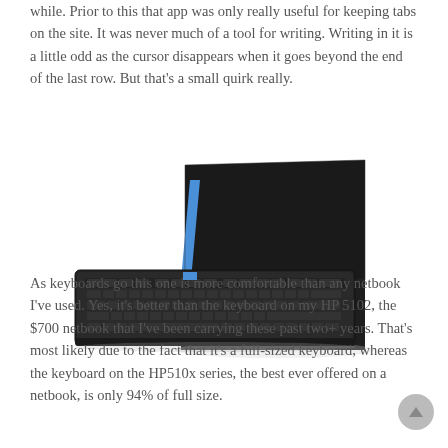while. Prior to this that app was only really useful for keeping tabs on the site. It was never much of a tool for writing. Writing in it is a little odd as the cursor disappears when it goes beyond the end of the last row. But that's a small quirk really.
[Figure (photo): A wireless Bluetooth keyboard lying flat in front of a folded black leather case/stand with blue interior accent, resembling a tablet stand setup.]
As keyboards go this one is more comfortable than any netbook I've used. Yes, it's better than the keyboard on my HP 5102, the $700 netbook that I've been carrying these past two+ years. That's most likely due to the fact that it's a full-sized keyboard, whereas the keyboard on the HP510x series, the best ever offered on a netbook, is only 94% of full size.